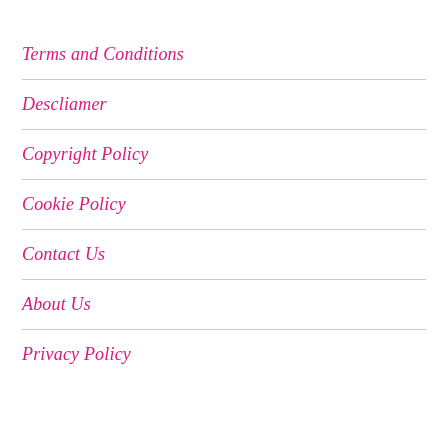Terms and Conditions
Descliamer
Copyright Policy
Cookie Policy
Contact Us
About Us
Privacy Policy